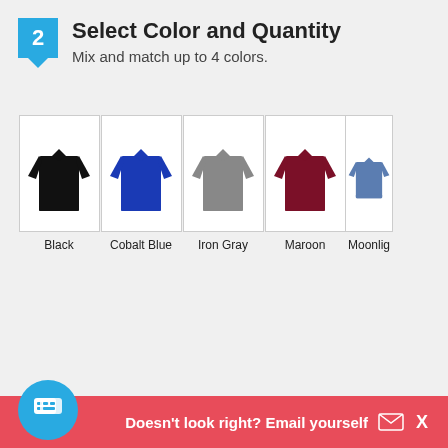2 Select Color and Quantity
Mix and match up to 4 colors.
[Figure (photo): Five long-sleeve polo shirts displayed in colors: Black, Cobalt Blue, Iron Gray, Maroon, and Moonlight Blue (partially visible). Each shirt is shown as a product photo in a bordered box.]
Doesn't look right? Email yourself X